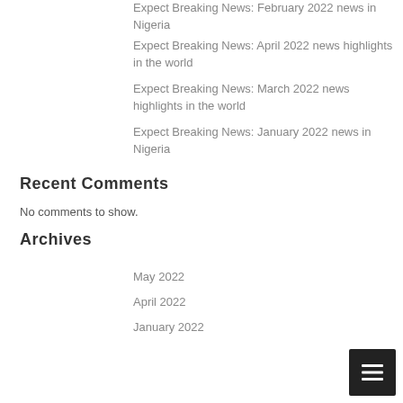Expect Breaking News: February 2022 news in Nigeria
Expect Breaking News: April 2022 news highlights in the world
Expect Breaking News: March 2022 news highlights in the world
Expect Breaking News: January 2022 news in Nigeria
Recent Comments
No comments to show.
Archives
May 2022
April 2022
January 2022